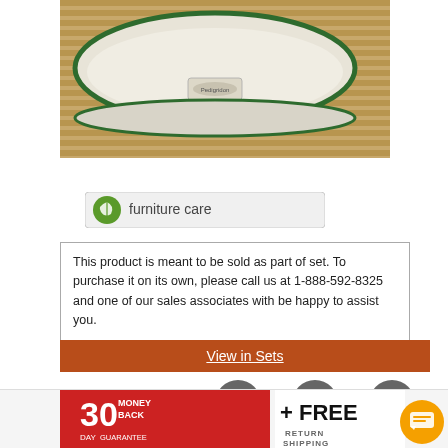[Figure (photo): Close-up photo of a cream/white outdoor cushion with green piping on a teak wood surface, with a brand label visible]
[Figure (logo): Furniture care badge showing a green leaf icon and the text 'furniture care']
This product is meant to be sold as part of set. To purchase it on its own, please call us at 1-888-592-8325 and one of our sales associates with be happy to assist you.
View in Sets
[Figure (infographic): Three contact method icons: Live Chat Online, Email Us, and Phone — gray circular icons with labels]
[Figure (infographic): Bottom banner showing 30 Day Money Back Guarantee logo and + FREE RETURN SHIPPING text, with orange chat bubble icon]